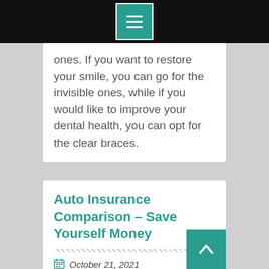Menu icon / navigation bar
ones. If you want to restore your smile, you can go for the invisible ones, while if you would like to improve your dental health, you can opt for the clear braces.
Auto Insurance Comparison – Save Yourself Money
October 21, 2021
If you're looking for Orange County car insurance rates, then you've come to the right place. I will share with you some secrets that will help you get a better rate. Orange County car insurance rates have dropped dramatically in the